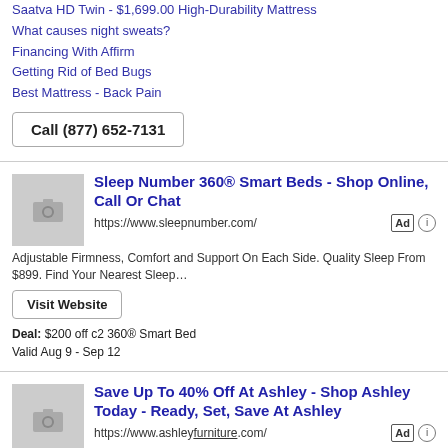Saatva HD Twin - $1,699.00 High-Durability Mattress
What causes night sweats?
Financing With Affirm
Getting Rid of Bed Bugs
Best Mattress - Back Pain
Call (877) 652-7131
Sleep Number 360® Smart Beds - Shop Online, Call Or Chat
https://www.sleepnumber.com/
Adjustable Firmness, Comfort and Support On Each Side. Quality Sleep From $899. Find Your Nearest Sleep…
Visit Website
Deal: $200 off c2 360® Smart Bed
Valid Aug 9 - Sep 12
Save Up To 40% Off At Ashley - Shop Ashley Today - Ready, Set, Save At Ashley
https://www.ashleyfurniture.com/
Everything's On Sale! Get Up To 40% Off Hot Buys With Thousands Of Items In-Stock Today! Browse Furniture..